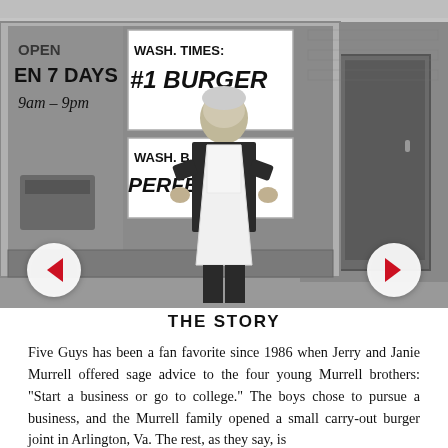[Figure (photo): Black and white photograph of a person (presumably Jerry Murrell) standing in front of a burger restaurant storefront wearing an apron, with signs visible reading 'OPEN 7 DAYS 9am-9pm', 'WASH. TIMES: #1 BURGER', and 'WASH. BEST: PERFECT BURGER'. Navigation arrows (left and right) overlay the bottom corners of the photo.]
THE STORY
Five Guys has been a fan favorite since 1986 when Jerry and Janie Murrell offered sage advice to the four young Murrell brothers: “Start a business or go to college.” The boys chose to pursue a business, and the Murrell family opened a small carry-out burger joint in Arlington, Va. The rest, as they say, is